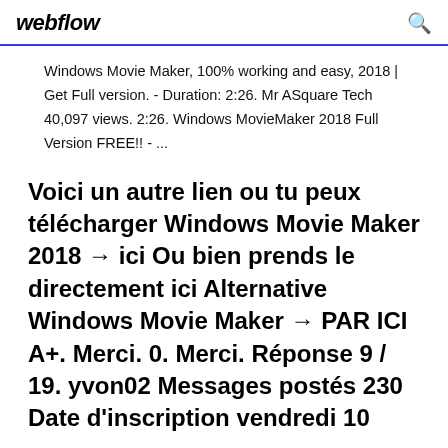webflow
Windows Movie Maker, 100% working and easy, 2018 | Get Full version. - Duration: 2:26. Mr ASquare Tech 40,097 views. 2:26. Windows MovieMaker 2018 Full Version FREE!! - ...
Voici un autre lien ou tu peux télécharger Windows Movie Maker 2018 → ici Ou bien prends le directement ici Alternative Windows Movie Maker → PAR ICI A+. Merci. 0. Merci. Réponse 9 / 19. yvon02 Messages postés 230 Date d'inscription vendredi 10